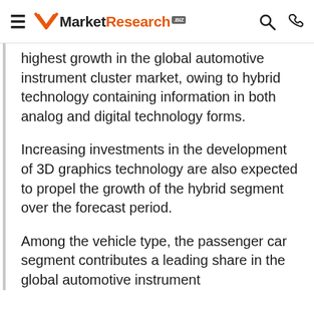≡ MarketResearch.biz
highest growth in the global automotive instrument cluster market, owing to hybrid technology containing information in both analog and digital technology forms.
Increasing investments in the development of 3D graphics technology are also expected to propel the growth of the hybrid segment over the forecast period.
Among the vehicle type, the passenger car segment contributes a leading share in the global automotive instrument